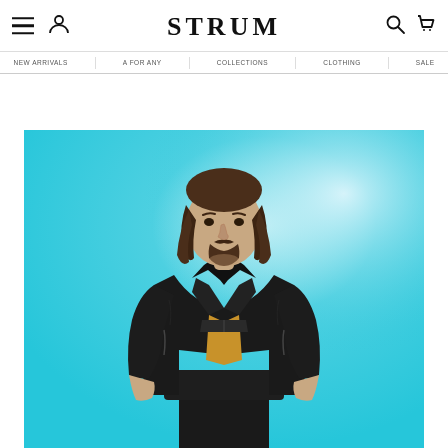STRUM
[Figure (photo): Male model wearing a black leather jacket over a mustard/golden yellow t-shirt, standing against a light blue to teal gradient background. Model has medium-length brown hair and a beard/mustache.]